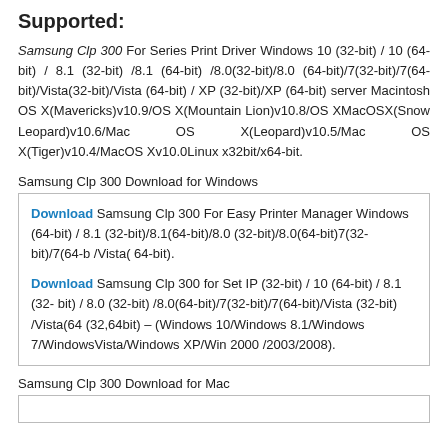Supported:
Samsung Clp 300 For Series Print Driver Windows 10 (32-bit) / 10 (64-bit) / 8.1 (32-bit) /8.1 (64-bit) /8.0(32-bit)/8.0 (64-bit)/7(32-bit)/7(64-bit)/Vista(32-bit)/Vista (64-bit) / XP (32-bit)/XP (64-bit) server Macintosh OS X(Mavericks)v10.9/OS X(Mountain Lion)v10.8/OS XMacOSX(Snow Leopard)v10.6/Mac OS X(Leopard)v10.5/Mac OS X(Tiger)v10.4/MacOS Xv10.0Linux x32bit/x64-bit.
Samsung Clp 300 Download for Windows
Download Samsung Clp 300 For Easy Printer Manager Windows (64-bit) / 8.1 (32-bit)/8.1(64-bit)/8.0 (32-bit)/8.0(64-bit)7(32-bit)/7(64-bit)/Vista( 64-bit).
Download Samsung Clp 300 for Set IP (32-bit) / 10 (64-bit) / 8.1 (32-bit) / 8.0 (32-bit) /8.0(64-bit)/7(32-bit)/7(64-bit)/Vista (32-bit) /Vista(64-bit) (32,64bit) – (Windows 10/Windows 8.1/Windows 7/WindowsVista/Windows XP/Win 2000 /2003/2008).
Samsung Clp 300 Download for Mac